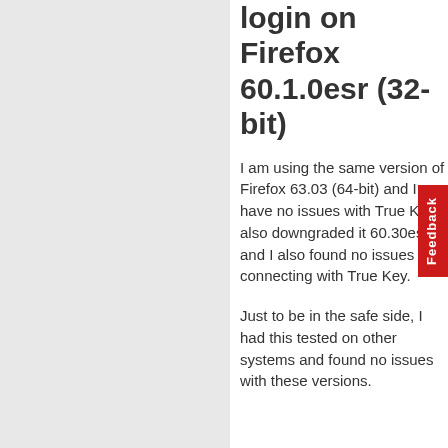login on Firefox 60.1.0esr (32-bit)
I am using the same version of Firefox 63.03 (64-bit) and I have no issues with True Key, also downgraded it 60.30esr and I also found no issues connecting with True Key.
Just to be in the safe side, I had this tested on other systems and found no issues with these versions.